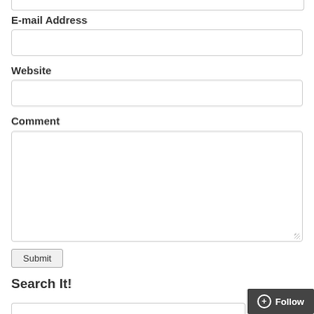[Figure (screenshot): Top partial input field (truncated at top of page)]
E-mail Address
[Figure (screenshot): E-mail Address input field (empty text box)]
Website
[Figure (screenshot): Website input field (empty text box)]
Comment
[Figure (screenshot): Comment textarea field (large empty text area with resize handle)]
[Figure (screenshot): Submit button]
Search It!
[Figure (screenshot): Follow button (dark gray, bottom right)]
[Figure (screenshot): Bottom partial input field (truncated at bottom of page)]